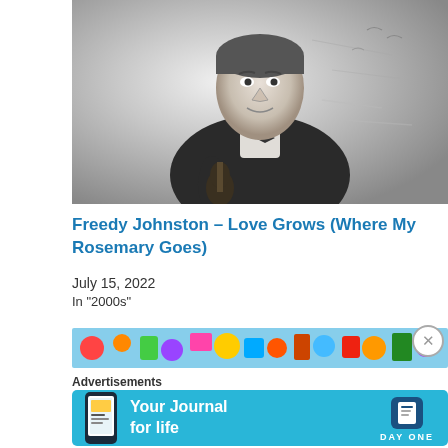[Figure (photo): Black and white photograph of a man in a dark jacket holding what appears to be a musical instrument, leaning forward slightly, with a textured wall in the background.]
Freedy Johnston – Love Grows (Where My Rosemary Goes)
July 15, 2022
In "2000s"
[Figure (photo): Colorful advertisement image strip with various colorful objects.]
Advertisements
[Figure (infographic): Day One app advertisement banner with cyan/blue background. Text reads 'Your Journal for life' with the Day One logo on the right and a phone mockup on the left.]